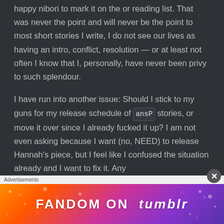happy nibori to mark it on the or reading list. That was never the point and will never be the point to most short stories I write, I do not see our lives as having an intro, conflict, resolution — or at least not often I know that I, personally, have never been privy to such splendour.

I have run into another issue: Should I stick to my guns for my release schedule of ansP stories, or move it over since I already fucked it up? I am not even asking because I want (no, NEED) to release Hannah's piece, but I feel like I confused the situation already and I want to fix it. Any
[Figure (other): Fandom on Tumblr advertisement banner with colorful gradient background (orange to purple) and white bold text reading FANDOM ON tumblr]